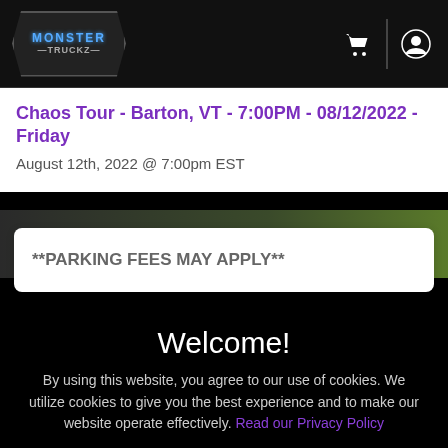Monster Truckz logo, shopping cart icon, account icon
Chaos Tour - Barton, VT - 7:00PM - 08/12/2022 - Friday
August 12th, 2022 @ 7:00pm EST
**PARKING FEES MAY APPLY**
Welcome!
By using this website, you agree to our use of cookies. We utilize cookies to give you the best experience and to make our website operate effectively. Read our Privacy Policy
I Accept